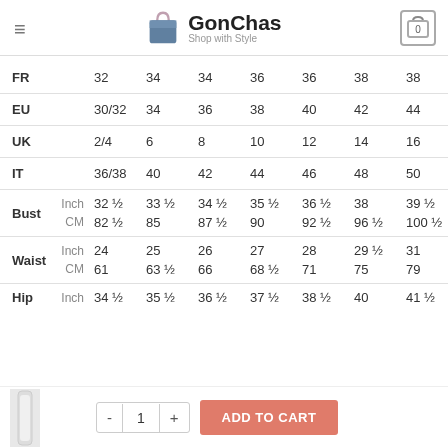GonChas - Shop with Style
|  |  | col1 | col2 | col3 | col4 | col5 | col6 | col7 | col8 |
| --- | --- | --- | --- | --- | --- | --- | --- | --- | --- |
| FR |  | 32 | 34 | 34 | 36 | 36 | 38 | 38 | 40 |
| EU |  | 30/32 | 34 | 36 | 38 | 40 | 42 | 44 | 46 |
| UK |  | 2/4 | 6 | 8 | 10 | 12 | 14 | 16 | 18 |
| IT |  | 36/38 | 40 | 42 | 44 | 46 | 48 | 50 | 52 |
| Bust | Inch | 32 ½ | 33 ½ | 34 ½ | 35 ½ | 36 ½ | 38 | 39 ½ | 41 |
| Bust | CM | 82 ½ | 85 | 87 ½ | 90 | 92 ½ | 96 ½ | 100 ½ | 10 |
| Waist | Inch | 24 | 25 | 26 | 27 | 28 | 29 ½ | 31 | 32 |
| Waist | CM | 61 | 63 ½ | 66 | 68 ½ | 71 | 75 | 79 | 82 |
| Hip | Inch | 34 ½ | 35 ½ | 36 ½ | 37 ½ | 38 ½ | 40 | 41 ½ | 43 |